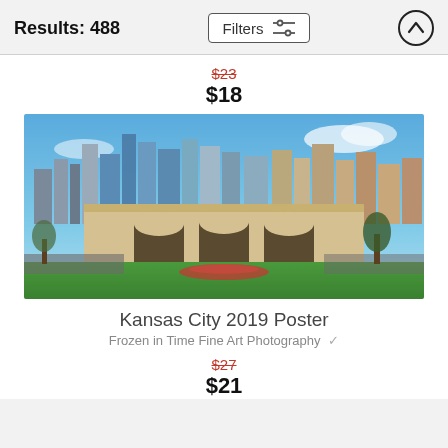Results: 488
$23 (strikethrough) $18
[Figure (photo): Panoramic photo of Kansas City skyline featuring Union Station in foreground with city skyscrapers behind, green lawn and trees in front, blue sky with clouds]
Kansas City 2019 Poster
Frozen in Time Fine Art Photography
$27 (strikethrough) $21